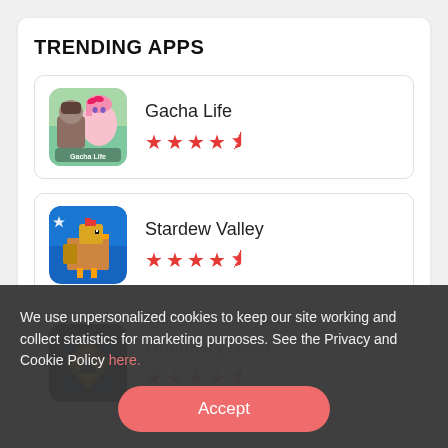TRENDING APPS
Gacha Life
[Figure (illustration): Gacha Life app icon showing anime-style characters]
★★★★½ (4.5 stars)
Stardew Valley
[Figure (illustration): Stardew Valley app icon showing pixel art chicken on blue background]
★★★★½ (4.5 stars)
Geometry Dash
[Figure (illustration): Geometry Dash app icon showing geometric shapes on dark background]
★★★★½ (4.5 stars)
We use unpersonalized cookies to keep our site working and collect statistics for marketing purposes. See the Privacy and Cookie Policy here.
Accept